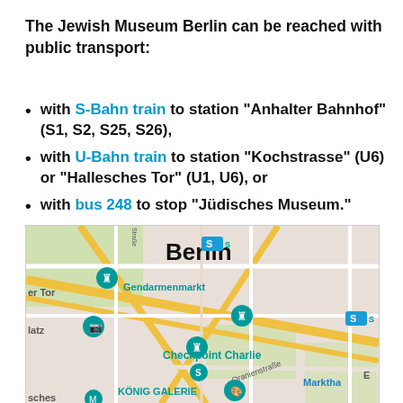The Jewish Museum Berlin can be reached with public transport:
with S-Bahn train to station “Anhalter Bahnhof” (S1, S2, S25, S26),
with U-Bahn train to station “Kochstrasse” (U6) or “Hallesches Tor” (U1, U6), or
with bus 248 to stop “Jüdisches Museum.”
[Figure (map): Google Maps screenshot showing central Berlin area around Gendarmenmarkt, Checkpoint Charlie, König Galerie, with public transport markers]